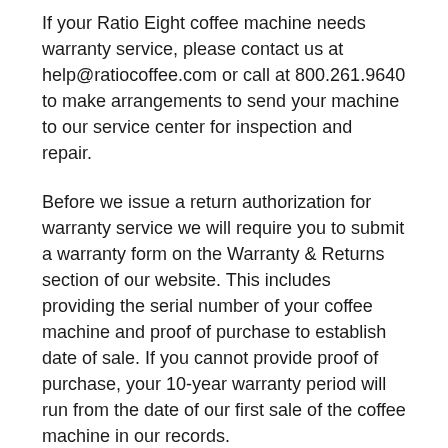If your Ratio Eight coffee machine needs warranty service, please contact us at help@ratiocoffee.com or call at 800.261.9640 to make arrangements to send your machine to our service center for inspection and repair.
Before we issue a return authorization for warranty service we will require you to submit a warranty form on the Warranty & Returns section of our website. This includes providing the serial number of your coffee machine and proof of purchase to establish date of sale. If you cannot provide proof of purchase, your 10-year warranty period will run from the date of our first sale of the coffee machine in our records.
Do not ship your coffee machine to us without a return authorization. You are responsible for shipping charges to return the coffee machine to us. Returned